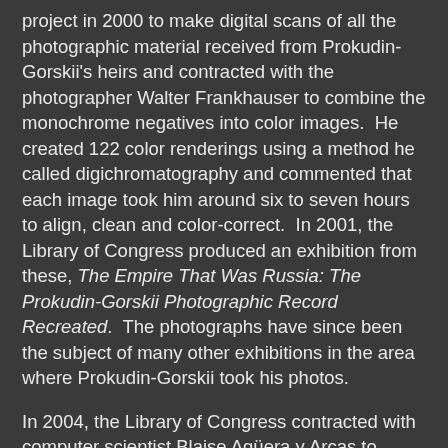project in 2000 to make digital scans of all the photographic material received from Prokudin-Gorskii's heirs and contracted with the photographer Walter Frankhauser to combine the monochrome negatives into color images.  He created 122 color renderings using a method he called digichromatography and commented that each image took him around six to seven hours to align, clean and color-correct.  In 2001, the Library of Congress produced an exhibition from these, The Empire That Was Russia: The Prokudin-Gorskii Photographic Record Recreated.  The photographs have since been the subject of many other exhibitions in the area where Prokudin-Gorskii took his photos.
In 2004, the Library of Congress contracted with computer scientist Blaise Agüera y Arcas to produce an automated color composite of each of the 1902 negatives from the high-resolution digital images of the glass-plate negatives. He applied algorithms to compensate for the differences between the exposures and prepared color composites of all the negatives in the collection.  As the library offers the high-resolution images of the negatives freely on the Internet,